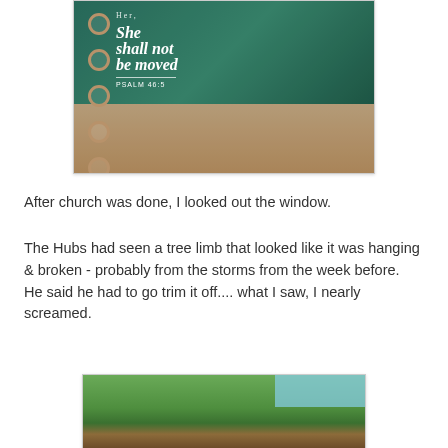[Figure (photo): A hand holding a teal and rose gold disc-bound notebook/planner with the text 'She shall not be moved - Psalm 46:5' written on the cover in white lettering]
After church was done, I looked out the window.
The Hubs had seen a tree limb that looked like it was hanging & broken - probably from the storms from the week before.  He said he had to go trim it off.... what I saw, I nearly screamed.
[Figure (photo): Outdoor photo showing large trees in a yard, green foliage, and a structure visible in the background beneath blue sky]